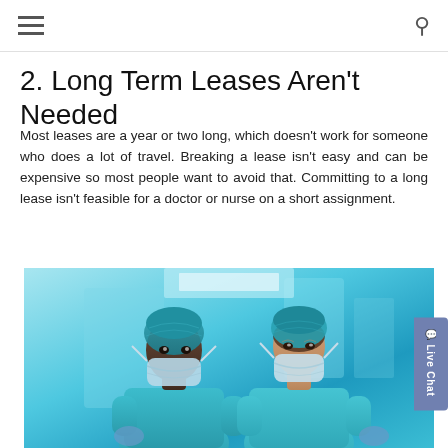2. Long Term Leases Aren't Needed
Most leases are a year or two long, which doesn't work for someone who does a lot of travel. Breaking a lease isn't easy and can be expensive so most people want to avoid that. Committing to a long lease isn't feasible for a doctor or nurse on a short assignment.
[Figure (photo): Two medical professionals in surgical scrubs, hair nets, and face masks standing side by side in a clinical setting with blue-toned lighting.]